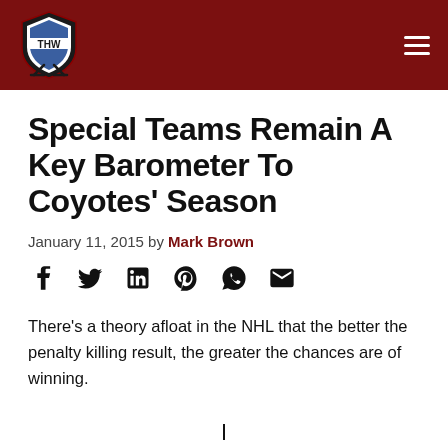THW (The Hockey Writers)
Special Teams Remain A Key Barometer To Coyotes’ Season
January 11, 2015 by Mark Brown
[Figure (other): Social share icons: Facebook, Twitter, LinkedIn, Pinterest, WhatsApp, Email]
There’s a theory afloat in the NHL that the better the penalty killing result, the greater the chances are of winning.